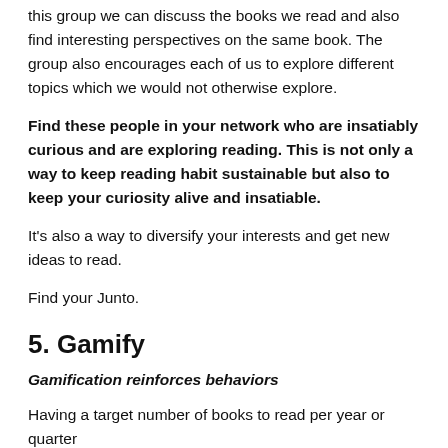this group we can discuss the books we read and also find interesting perspectives on the same book. The group also encourages each of us to explore different topics which we would not otherwise explore.
Find these people in your network who are insatiably curious and are exploring reading. This is not only a way to keep reading habit sustainable but also to keep your curiosity alive and insatiable.
It's also a way to diversify your interests and get new ideas to read.
Find your Junto.
5. Gamify
Gamification reinforces behaviors
Having a target number of books to read per year or quarter